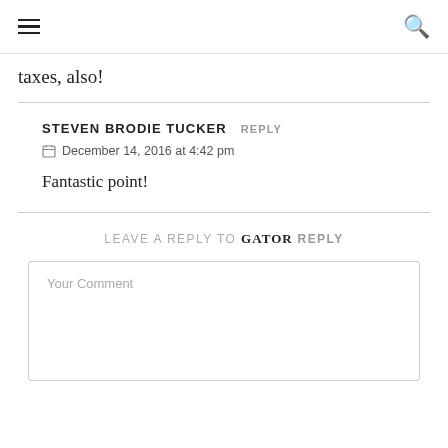≡  🔍
taxes, also!
STEVEN BRODIE TUCKER  REPLY
December 14, 2016 at 4:42 pm
Fantastic point!
LEAVE A REPLY TO GATOR  REPLY
Your Comment